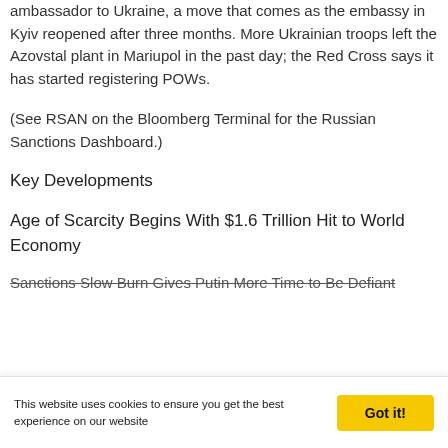ambassador to Ukraine, a move that comes as the embassy in Kyiv reopened after three months. More Ukrainian troops left the Azovstal plant in Mariupol in the past day; the Red Cross says it has started registering POWs.
(See RSAN on the Bloomberg Terminal for the Russian Sanctions Dashboard.)
Key Developments
Age of Scarcity Begins With $1.6 Trillion Hit to World Economy
Sanctions Slow Burn Gives Putin More Time to Be Defiant
This website uses cookies to ensure you get the best experience on our website